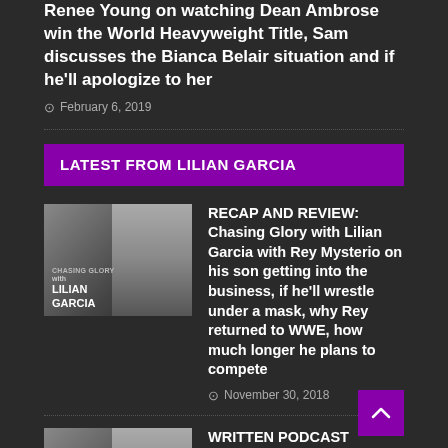Renee Young on watching Dean Ambrose win the World Heavyweight Title, Sam discusses the Bianca Belair situation and if he'll apologize to her
February 6, 2019
LATEST FROM LILIAN GARCIA
[Figure (photo): Chasing Glory with Lilian Garcia podcast thumbnail]
RECAP AND REVIEW: Chasing Glory with Lilian Garcia with Rey Mysterio on his son getting into the business, if he'll wrestle under a mask, why Rey returned to WWE, how much longer he plans to compete
November 30, 2018
[Figure (photo): Chasing Glory with Lilian Garcia podcast thumbnail]
WRITTEN PODCAST RECAP: Chasing Glory with Lilian Garcia w/ Becky Lynch on her journey to WWE, why her recent year has been a mixed bag, future goals, The Marine 6
May 2, 2018